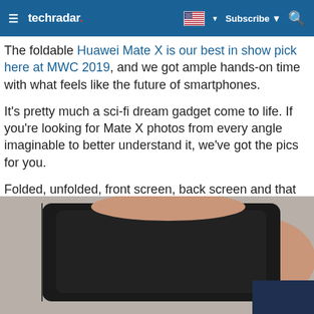techradar
The foldable Huawei Mate X is our best in show pick here at MWC 2019, and we got ample hands-on time with what feels like the future of smartphones.
It's pretty much a sci-fi dream gadget come to life. If you're looking for Mate X photos from every angle imaginable to better understand it, we've got the pics for you.
Folded, unfolded, front screen, back screen and that all-important Falcon Wing hinge – all the angles have been captured by our team on the ground. Let's take a tour.
[Figure (photo): Hand holding a folded Huawei Mate X foldable smartphone, viewed from above on a neutral background.]